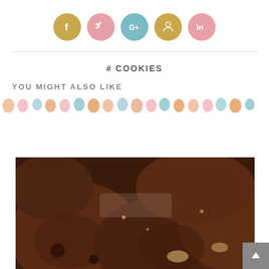[Figure (other): Social media sharing icons: Facebook (gold), Twitter (pink), Google+ (teal), Pinterest (gold), LinkedIn (pink) as circles]
# COOKIES
YOU MIGHT ALSO LIKE
[Figure (illustration): Decorative row of small colorful macaron/cookie dot illustrations in peach, pink, blue, orange, teal colors]
[Figure (photo): Close-up photo of dark chocolate cookies piled together, showing rich brown texture with chocolate chips and nuts]